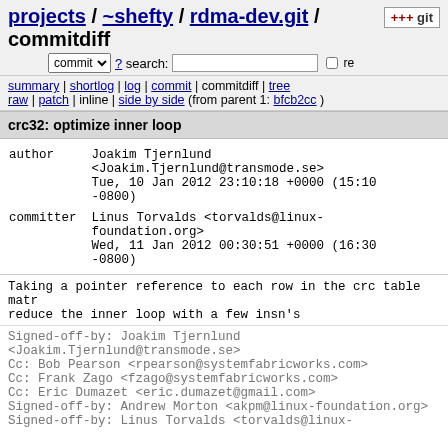projects / ~shefty / rdma-dev.git / commitdiff
commit ? search: re
summary | shortlog | log | commit | commitdiff | tree
raw | patch | inline | side by side (from parent 1: bfcb2cc)
crc32: optimize inner loop
| field | value |
| --- | --- |
| author | Joakim Tjernlund
<Joakim.Tjernlund@transmode.se>
Tue, 10 Jan 2012 23:10:18 +0000 (15:10 -0800) |
| committer | Linus Torvalds <torvalds@linux-foundation.org>
Wed, 11 Jan 2012 00:30:51 +0000 (16:30 -0800) |
Taking a pointer reference to each row in the crc table matr
reduce the inner loop with a few insn's
Signed-off-by: Joakim Tjernlund
<Joakim.Tjernlund@transmode.se>
Cc: Bob Pearson <rpearson@systemfabricworks.com>
Cc: Frank Zago <fzago@systemfabricworks.com>
Cc: Eric Dumazet <eric.dumazet@gmail.com>
Signed-off-by: Andrew Morton <akpm@linux-foundation.org>
Signed-off-by: Linus Torvalds <torvalds@linux-